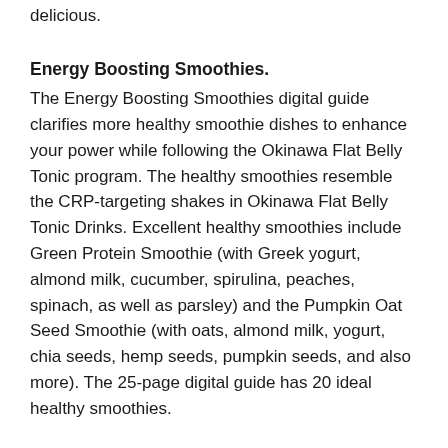delicious.
Energy Boosting Smoothies.
The Energy Boosting Smoothies digital guide clarifies more healthy smoothie dishes to enhance your power while following the Okinawa Flat Belly Tonic program. The healthy smoothies resemble the CRP-targeting shakes in Okinawa Flat Belly Tonic Drinks. Excellent healthy smoothies include Green Protein Smoothie (with Greek yogurt, almond milk, cucumber, spirulina, peaches, spinach, as well as parsley) and the Pumpkin Oat Seed Smoothie (with oats, almond milk, yogurt, chia seeds, hemp seeds, pumpkin seeds, and also more). The 25-page digital guide has 20 ideal healthy smoothies.